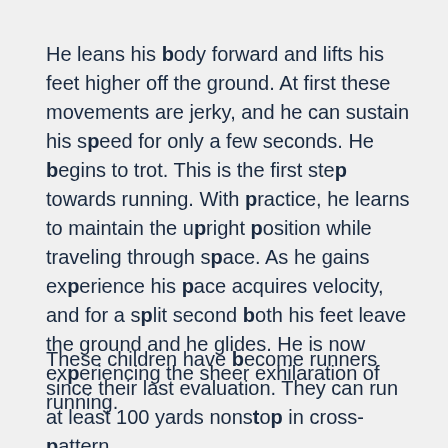He leans his body forward and lifts his feet higher off the ground. At first these movements are jerky, and he can sustain his speed for only a few seconds. He begins to trot. This is the first step towards running. With practice, he learns to maintain the upright position while traveling through space. As he gains experience his pace acquires velocity, and for a split second both his feet leave the ground and he glides. He is now experiencing the sheer exhilaration of running.
These children have become runners since their last evaluation. They can run at least 100 yards nonstop in cross-pattern.